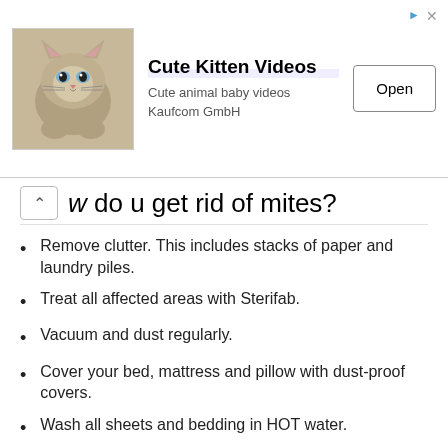[Figure (screenshot): Advertisement banner for 'Cute Kitten Videos' app by Kaufcom GmbH, showing a kitten photo, app title, subtitle 'Cute animal baby videos Kaufcom GmbH', and an 'Open' button.]
w do u get rid of mites?
Remove clutter. This includes stacks of paper and laundry piles.
Treat all affected areas with Sterifab.
Vacuum and dust regularly.
Cover your bed, mattress and pillow with dust-proof covers.
Wash all sheets and bedding in HOT water.
via
How do I get rid of mites on my dog's chicken?
You can spray insecticide around points of entry to your home, such as doors and windows. Topical pesticides on your dog will kill